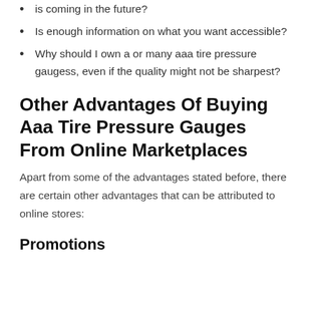is coming in the future?
Is enough information on what you want accessible?
Why should I own a or many aaa tire pressure gaugess, even if the quality might not be sharpest?
Other Advantages Of Buying Aaa Tire Pressure Gauges From Online Marketplaces
Apart from some of the advantages stated before, there are certain other advantages that can be attributed to online stores:
Promotions